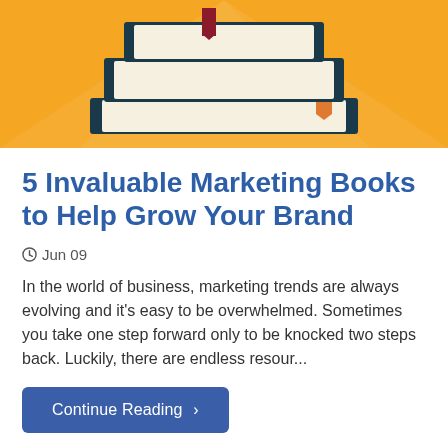[Figure (illustration): Illustration of a stack of books on an orange background with diagonal light rays. Books are dark navy/teal colored with cream/white covers; a dark red bookmark sticks out of the top book, and an orange bookmark is visible on the right side of the stack.]
5 Invaluable Marketing Books to Help Grow Your Brand
🕐Jun 09
In the world of business, marketing trends are always evolving and it's easy to be overwhelmed. Sometimes you take one step forward only to be knocked two steps back. Luckily, there are endless resour...
Continue Reading ›